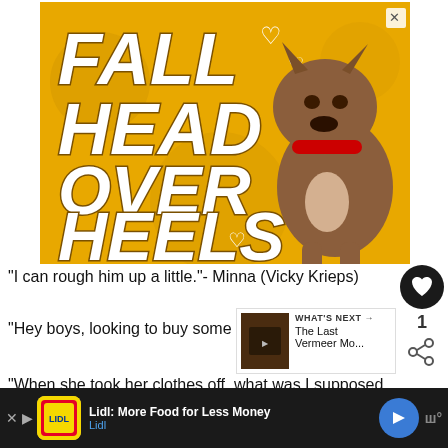[Figure (illustration): Advertisement banner with golden/yellow background showing a pit bull dog with red collar and text 'FALL HEAD OVER HEELS' in large white italic letters with brown outline. Heart symbols scattered around. Close X button in top right corner.]
“I can rough him up a little.”- Minna (Vicky Krieps)
“Hey boys, looking to buy some art?”- Del
[Figure (thumbnail): WHAT'S NEXT arrow label with movie thumbnail for 'The Last Vermeer Mo...']
“When she took her clothes off, what was I supposed to
[Figure (illustration): Bottom advertisement bar: Lidl: More Food for Less Money - Lidl, with Lidl logo, blue arrow button, and W superscript icon on dark background.]